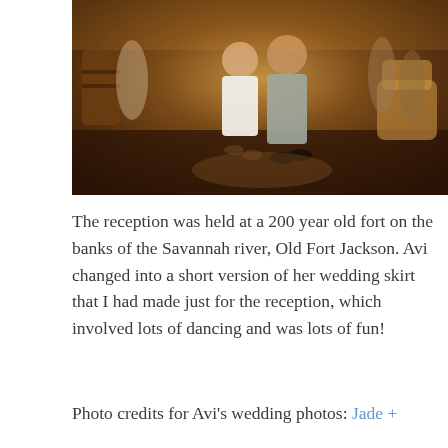[Figure (photo): A couple dancing at a wedding reception inside what appears to be a rustic venue. The woman is wearing a short white dress and sandals; the man is in a grey suit. Other guests are visible in the background, along with a wooden barrel and wicker furniture. The floor appears to be dark wood.]
The reception was held at a 200 year old fort on the banks of the Savannah river, Old Fort Jackson. Avi changed into a short version of her wedding skirt that I had made just for the reception, which involved lots of dancing and was lots of fun!
Photo credits for Avi's wedding photos: Jade + Matthew Take Photos